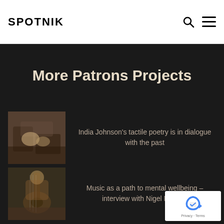SPOTNIK
More Patrons Projects
[Figure (photo): Photo of a person working on a tactile/craft project, hands visible, dark background]
India Johnson's tactile poetry is in dialogue with the past
[Figure (photo): Photo of a person playing guitar or musical instrument, dark warm tones]
Music as a path to mental wellbeing – interview with Nigel Modern